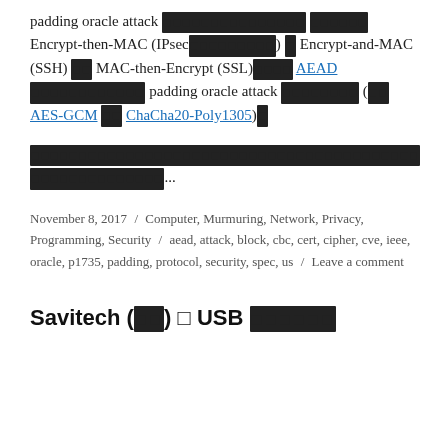padding oracle attack ■■■■■■■■■■■■■■■■■■■ Encrypt-then-MAC (IPsec■■■■■■■■■) ■ Encrypt-and-MAC (SSH) ■■ MAC-then-Encrypt (SSL)■■■■ AEAD ■■■■■■■■■■■■ padding oracle attack ■■■■■■■■ (■■ AES-GCM ■■ ChaCha20-Poly1305)■
■■■■■■■■■■■■■■■■■■■■■■■■■■■■■■■■■■■■■■■■■■■■■■■■■■■■■■■■■...
November 8, 2017 / Computer, Murmuring, Network, Privacy, Programming, Security / aead, attack, block, cbc, cert, cipher, cve, ieee, oracle, p1735, padding, protocol, security, spec, us / Leave a comment
Savitech (■■) ■ USB ■■■■■■